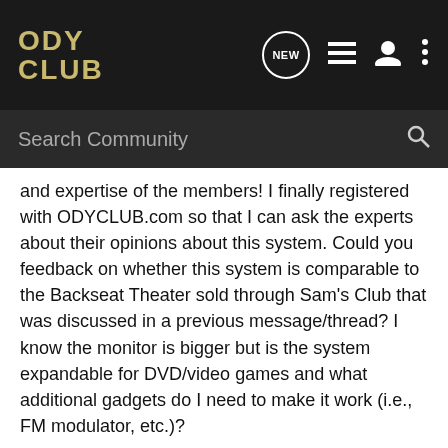ODY CLUB
Search Community
and expertise of the members! I finally registered with ODYCLUB.com so that I can ask the experts about their opinions about this system. Could you feedback on whether this system is comparable to the Backseat Theater sold through Sam's Club that was discussed in a previous message/thread? I know the monitor is bigger but is the system expandable for DVD/video games and what additional gadgets do I need to make it work (i.e., FM modulator, etc.)?
www.newsales.com/tvconsole/8_inch_overhead_universal_tv_con.htm
If you're not able to click on the above as a link, could you tell me how to change it so that you can?